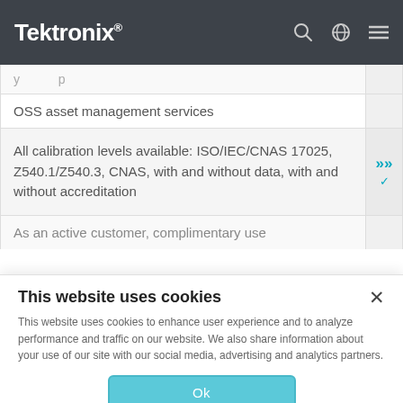Tektronix
| Service |  |
| --- | --- |
| [partial row cut off] |  |
| OSS asset management services |  |
| All calibration levels available: ISO/IEC/CNAS 17025, Z540.1/Z540.3, CNAS, with and without data, with and without accreditation |  |
| As an active customer, complimentary use... |  |
This website uses cookies
This website uses cookies to enhance user experience and to analyze performance and traffic on our website. We also share information about your use of our site with our social media, advertising and analytics partners.
Ok